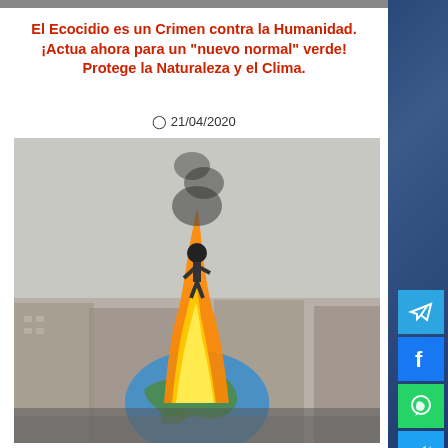El Ecocidio es un Crimen contra la Humanidad. ¡Actua ahora para un "nuevo normal" verde! Protege la Naturaleza y el Clima.
⊙ 21/04/2020
[Figure (photo): Protest scene showing a large globe prop on fire in a public square with crowds of people surrounding it and European-style buildings in the background. A figure stands atop the burning globe. Flames and black smoke are visible.]